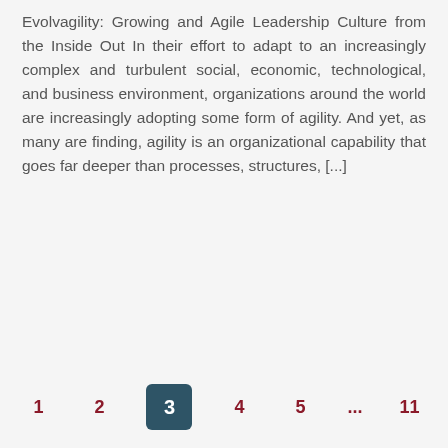Evolvagility: Growing and Agile Leadership Culture from the Inside Out In their effort to adapt to an increasingly complex and turbulent social, economic, technological, and business environment, organizations around the world are increasingly adopting some form of agility. And yet, as many are finding, agility is an organizational capability that goes far deeper than processes, structures, [...]
Läs mer →
1  2  3  4  5  ...  11